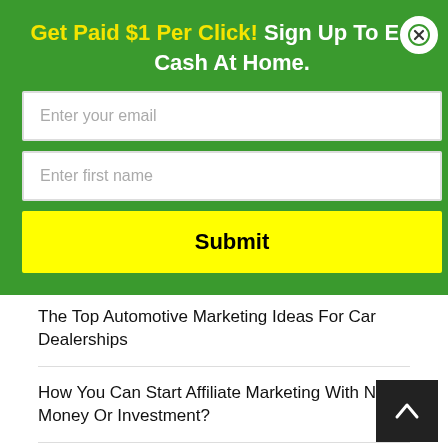Get Paid $1 Per Click! Sign Up To Earn Cash At Home.
Enter your email
Enter first name
Submit
The Top Automotive Marketing Ideas For Car Dealerships
How You Can Start Affiliate Marketing With No Money Or Investment?
How to Start a Passive Income Business From Home
Things That Are Easy To Make And Sell: How